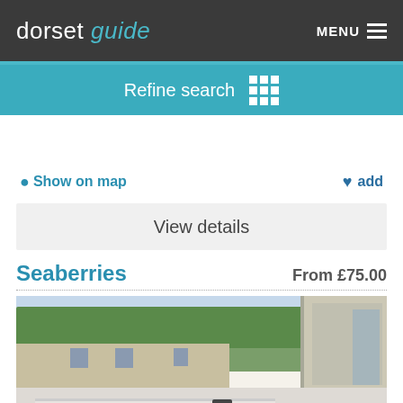dorset guide  MENU
Refine search
Show on map  ♥ add
View details
Seaberries
From £75.00
[Figure (photo): Exterior photo of Seaberries holiday property showing a decked area with patio furniture, white fence railing, and static caravan/chalet buildings in the background surrounded by trees.]